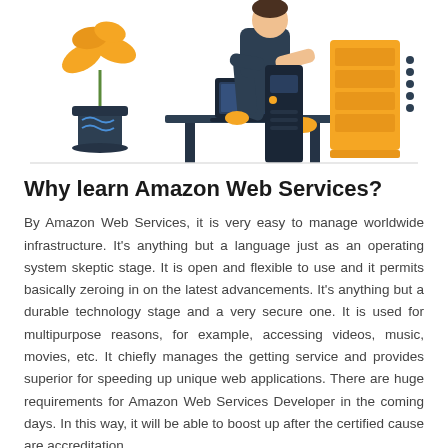[Figure (illustration): Flat-style illustration showing a person sitting at a desk working on a laptop, with a potted orange plant on the left, a desktop computer tower in the center, and an orange filing cabinet/server unit on the right. The person wears dark clothing with orange shoes.]
Why learn Amazon Web Services?
By Amazon Web Services, it is very easy to manage worldwide infrastructure. It's anything but a language just as an operating system skeptic stage. It is open and flexible to use and it permits basically zeroing in on the latest advancements. It's anything but a durable technology stage and a very secure one. It is used for multipurpose reasons, for example, accessing videos, music, movies, etc. It chiefly manages the getting service and provides superior for speeding up unique web applications. There are huge requirements for Amazon Web Services Developer in the coming days. In this way, it will be able to boost up after the certified cause are accreditation.